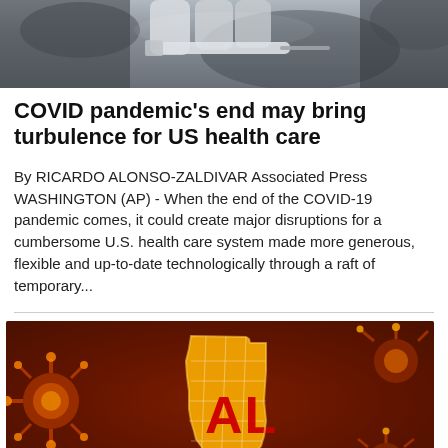[Figure (photo): Close-up photo of a person holding a syringe or medical device, dark/blurred background suggesting medical setting]
COVID pandemic's end may bring turbulence for US health care
By RICARDO ALONSO-ZALDIVAR Associated Press WASHINGTON (AP) - When the end of the COVID-19 pandemic comes, it could create major disruptions for a cumbersome U.S. health care system made more generous, flexible and up-to-date technologically through a raft of temporary...
[Figure (photo): Dramatic red/orange background with coronavirus particles glowing, overlaid with a golden map of the state of Alabama with 'AL' written in red letters]